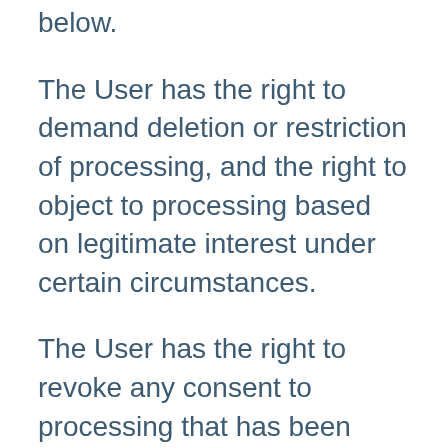below.
The User has the right to demand deletion or restriction of processing, and the right to object to processing based on legitimate interest under certain circumstances.
The User has the right to revoke any consent to processing that has been given by the User to Controller. Using this right may however, mean that the User can not apply for a specific job or otherwise use the Service.
The User has under certain circumstances a right to data portability, which means a right to get the personal data and transfer these to